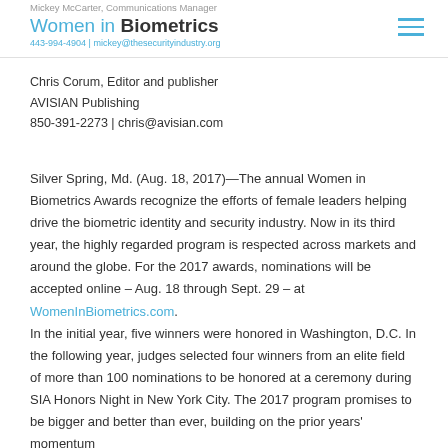Mickey McCarter, Communications Manager | Women in Biometrics | 443-994-4904 | mickey@thesecurityindustry.org
Women in Biometrics
Chris Corum, Editor and publisher
AVISIAN Publishing
850-391-2273 | chris@avisian.com
Silver Spring, Md. (Aug. 18, 2017)—The annual Women in Biometrics Awards recognize the efforts of female leaders helping drive the biometric identity and security industry. Now in its third year, the highly regarded program is respected across markets and around the globe. For the 2017 awards, nominations will be accepted online – Aug. 18 through Sept. 29 – at WomenInBiometrics.com.
In the initial year, five winners were honored in Washington, D.C. In the following year, judges selected four winners from an elite field of more than 100 nominations to be honored at a ceremony during SIA Honors Night in New York City. The 2017 program promises to be bigger and better than ever, building on the prior years' momentum